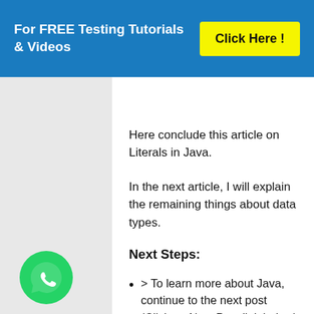For FREE Testing Tutorials & Videos   Click Here !
Here conclude this article on Literals in Java.
In the next article, I will explain the remaining things about data types.
Next Steps:
> To learn more about Java, continue to the next post (Click on Next Post link below)